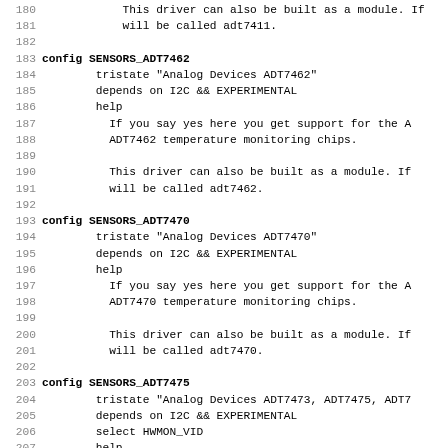Source code listing lines 180-211, kernel Kconfig file for hardware monitoring sensors (ADT7462, ADT7470, ADT7475)
180: This driver can also be built as a module. If
181:     will be called adt7411.
182:
183: config SENSORS_ADT7462
184:     tristate "Analog Devices ADT7462"
185:     depends on I2C && EXPERIMENTAL
186:     help
187:         If you say yes here you get support for the A
188:         ADT7462 temperature monitoring chips.
189:
190:         This driver can also be built as a module. If
191:         will be called adt7462.
192:
193: config SENSORS_ADT7470
194:     tristate "Analog Devices ADT7470"
195:     depends on I2C && EXPERIMENTAL
196:     help
197:         If you say yes here you get support for the A
198:         ADT7470 temperature monitoring chips.
199:
200:         This driver can also be built as a module. If
201:         will be called adt7470.
202:
203: config SENSORS_ADT7475
204:     tristate "Analog Devices ADT7473, ADT7475, ADT7
205:     depends on I2C && EXPERIMENTAL
206:     select HWMON_VID
207:     help
208:         If you say yes here you get support for the A
209:         ADT7473, ADT7475, ADT7476 and ADT7490 hardwar
210:         chips.
211: